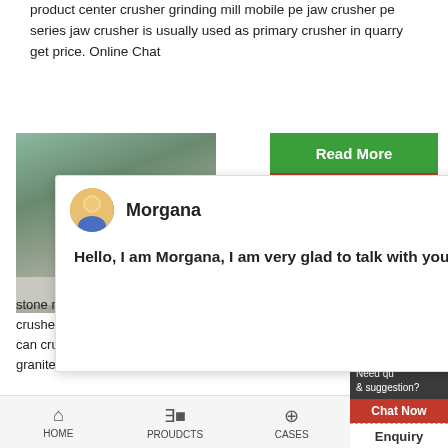product center crusher grinding mill mobile pe jaw crusher pe series jaw crusher is usually used as primary crusher in quarry get price. Online Chat
[Figure (screenshot): Green 'Read More' button and red '24Hrs Online' bar overlay]
[Figure (photo): Outdoor rocky landscape/quarry photo]
[Figure (screenshot): Chat popup with avatar of Morgana, name 'Morgana', message 'Hello, I am Morgana, I am very glad to talk with you!' and close X button]
Stone Crusher J>
stone rock crushers include cone crusher, jaw cru crusher, mobile crusher, sand making machine, m plant hammer crushing which can crush with more of industrial materials.Such as pebble, granite, ba limestone. quartz. diabase. iron ore. gold. copper.
[Figure (screenshot): Right sidebar with circle badge '1', 'Need qu & suggestion?', 'Chat Now' button, 'Enquiry' section, 'limingjlmofen' button]
HOME   PROUDCTS   CASES   limingjlmofen